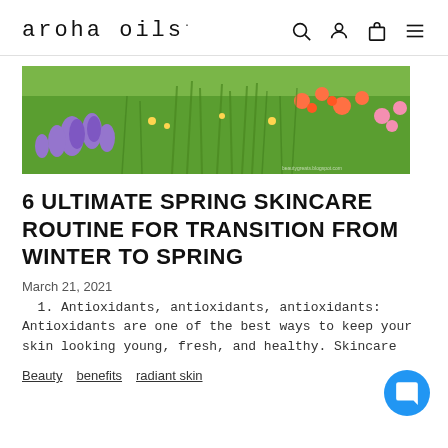aroha OILS
[Figure (photo): Wide banner photo of a wildflower meadow with purple lavender on the left, green tall grass in the center, and orange and pink wildflowers on the right.]
6 ULTIMATE SPRING SKINCARE ROUTINE FOR TRANSITION FROM WINTER TO SPRING
March 21, 2021
1. Antioxidants, antioxidants, antioxidants: Antioxidants are one of the best ways to keep your skin looking young, fresh, and healthy. Skincare
Beauty   benefits   radiant skin